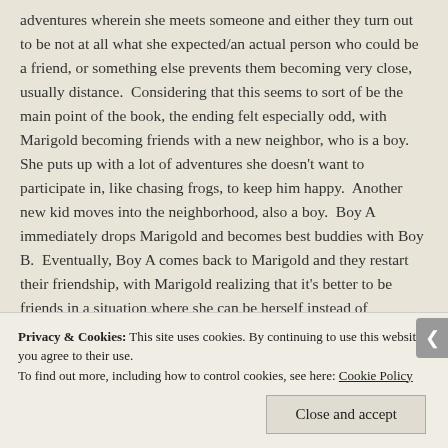adventures wherein she meets someone and either they turn out to be not at all what she expected/an actual person who could be a friend, or something else prevents them becoming very close, usually distance.  Considering that this seems to sort of be the main point of the book, the ending felt especially odd, with Marigold becoming friends with a new neighbor, who is a boy.  She puts up with a lot of adventures she doesn't want to participate in, like chasing frogs, to keep him happy.  Another new kid moves into the neighborhood, also a boy.  Boy A immediately drops Marigold and becomes best buddies with Boy B.  Eventually, Boy A comes back to Marigold and they restart their friendship, with Marigold realizing that it's better to be friends in a situation where she can be herself instead of
Privacy & Cookies: This site uses cookies. By continuing to use this website, you agree to their use.
To find out more, including how to control cookies, see here: Cookie Policy
Close and accept